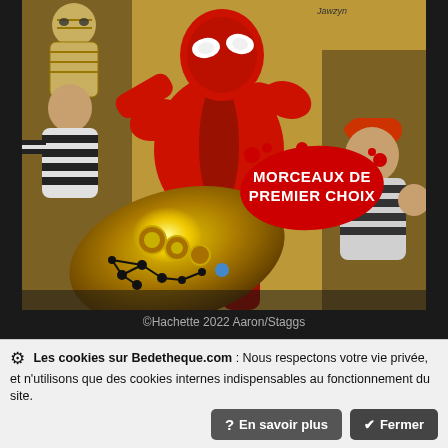[Figure (illustration): Comic book cover for Deadpool - La collection qui tue (Hachette), showing Deadpool in red suit holding a glowing weapon, with criminal characters on either side and a blood splat reading MORCEAUX DE PREMIER CHOIX]
©Hachette 2022 Aaron/Staggs
Deadpool-La collection qui tue (Hachette)
8035. Morceaux de premier choix
Les cookies sur Bedetheque.com : Nous respectons votre vie privée, et n'utilisons que des cookies internes indispensables au fonctionnement du site.